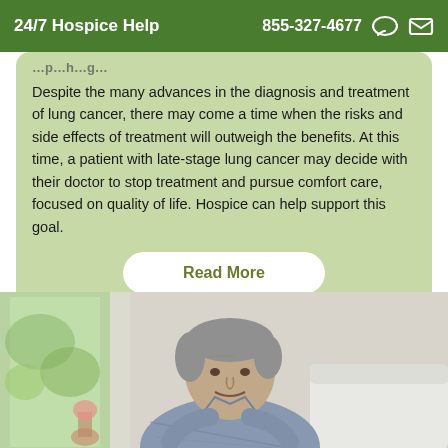24/7 Hospice Help  855-327-4677
Despite the many advances in the diagnosis and treatment of lung cancer, there may come a time when the risks and side effects of treatment will outweigh the benefits. At this time, a patient with late-stage lung cancer may decide with their doctor to stop treatment and pursue comfort care, focused on quality of life. Hospice can help support this goal.
Read More
[Figure (photo): Elderly man with gray hair wearing a light blue plaid shirt, leaning forward slightly, photographed indoors near a window with natural light and green foliage visible outside.]